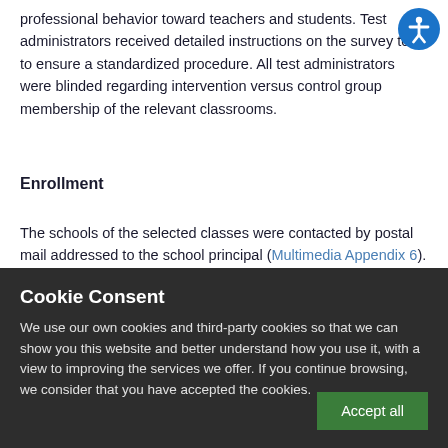professional behavior toward teachers and students. Test administrators received detailed instructions on the survey tools to ensure a standardized procedure. All test administrators were blinded regarding intervention versus control group membership of the relevant classrooms.
Enrollment
The schools of the selected classes were contacted by postal mail addressed to the school principal (Multimedia Appendix 6). In this
Cookie Consent
We use our own cookies and third-party cookies so that we can show you this website and better understand how you use it, with a view to improving the services we offer. If you continue browsing, we consider that you have accepted the cookies.
Accept all